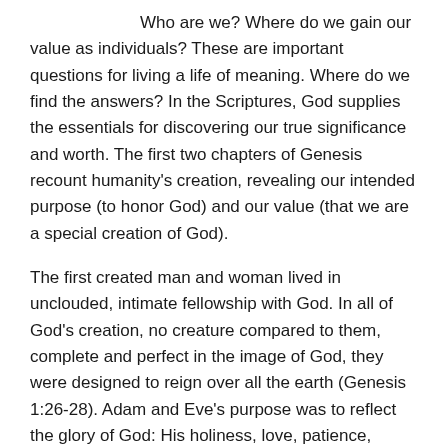Who are we? Where do we gain our value as individuals? These are important questions for living a life of meaning. Where do we find the answers? In the Scriptures, God supplies the essentials for discovering our true significance and worth. The first two chapters of Genesis recount humanity's creation, revealing our intended purpose (to honor God) and our value (that we are a special creation of God).
The first created man and woman lived in unclouded, intimate fellowship with God. In all of God's creation, no creature compared to them, complete and perfect in the image of God, they were designed to reign over all the earth (Genesis 1:26-28). Adam and Eve's purpose was to reflect the glory of God: His holiness, love, patience, wisdom, forgiveness, faithfulness and grace. Humanity was to be the showcase for God's glorious character.
Our identity, significance, and purpose are founded on the truth that each and every person is created in the image of God. In Genesis